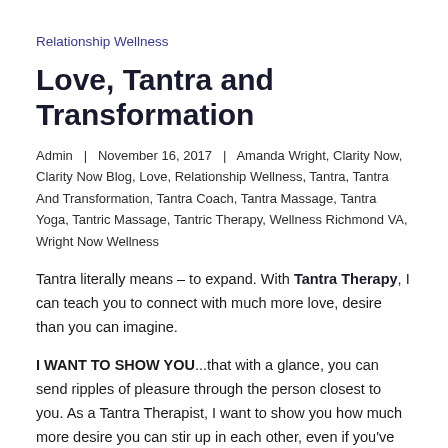Relationship Wellness
Love, Tantra and Transformation
Admin  |  November 16, 2017  |  Amanda Wright, Clarity Now, Clarity Now Blog, Love, Relationship Wellness, Tantra, Tantra And Transformation, Tantra Coach, Tantra Massage, Tantra Yoga, Tantric Massage, Tantric Therapy, Wellness Richmond VA, Wright Now Wellness
Tantra literally means – to expand. With Tantra Therapy, I can teach you to connect with much more love, desire than you can imagine.
I WANT TO SHOW YOU...that with a glance, you can send ripples of pleasure through the person closest to you. As a Tantra Therapist, I want to show you how much more desire you can stir up in each other, even if you've been